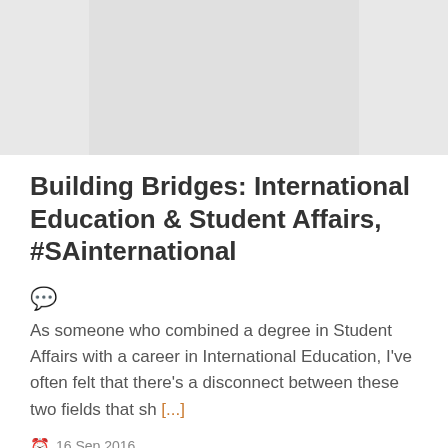[Figure (photo): Partial image of a document or book, light grey background, top portion cropped]
Building Bridges: International Education & Student Affairs, #SAinternational
As someone who combined a degree in Student Affairs with a career in International Education, I've often felt that there's a disconnect between these two fields that sh [...]
16 Sep 2016
Tag #SAinternational, acpa, advice,